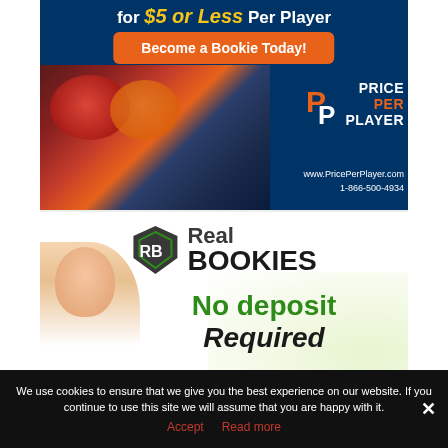[Figure (infographic): Price Per Player advertisement. Dark navy background with sports equipment imagery (football helmet, basketball, baseball). Text 'for $5 or Less Per Player' at top in white and yellow italic. Orange rounded button 'Become a Bookie Today!'. Price Per Player logo with orange PP icon and white/orange brand name. Website www.PricePerPlayer.com and phone 1-866-500-4934.]
[Figure (infographic): Real Bookies advertisement. White/light green background. RB shield logo in black and green. Text 'Real BOOKIES' in large bold. Blonde woman on left side thinking. Green text 'No deposit' and black italic text partially cut off at bottom.]
We use cookies to ensure that we give you the best experience on our website. If you continue to use this site we will assume that you are happy with it.
Accept   Read more